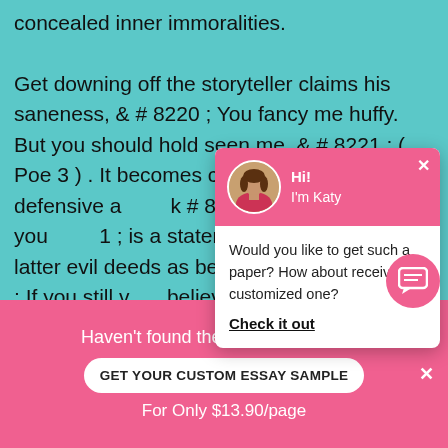concealed inner immoralities.
Get downing off the storyteller claims his saneness, & # 8220 ; You fancy me huffy. But you should hold seen me, & # 8221 ; ( Poe 3 ) . It becomes clear the storyteller is defensive a k # 8220 ; But why will you 1 ; is a statement that elude latter evil deeds as being 3 ) . & # 8220 ; If you still v believe so no longer. & # description of the storyt proclaiming his sanenes
[Figure (screenshot): Chat popup overlay with pink header showing avatar of a woman named Katy, saying 'Hi! I'm Katy', with message 'Would you like to get such a paper? How about receiving a customized one?' and a 'Check it out' link]
Haven't found the Essay You Want?
GET YOUR CUSTOM ESSAY SAMPLE
For Only $13.90/page